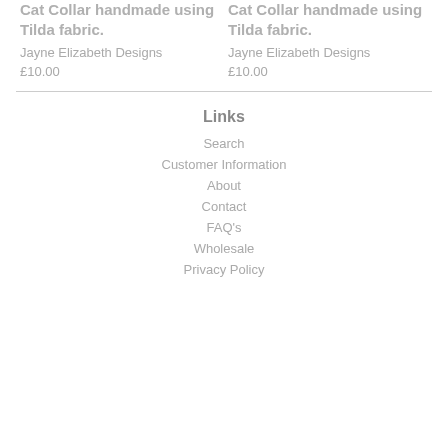Cat Collar handmade using Tilda fabric.
Jayne Elizabeth Designs
£10.00
Cat Collar handmade using Tilda fabric.
Jayne Elizabeth Designs
£10.00
Links
Search
Customer Information
About
Contact
FAQ's
Wholesale
Privacy Policy